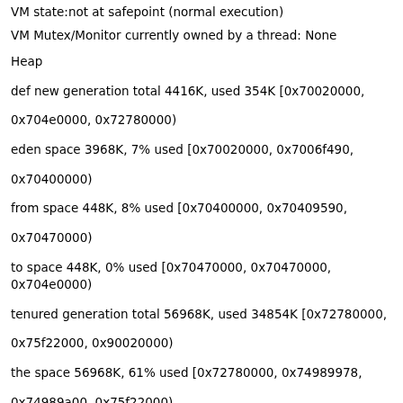VM state:not at safepoint (normal execution)
VM Mutex/Monitor currently owned by a thread: None
Heap
def new generation   total 4416K, used 354K [0x70020000, 0x704e0000, 0x72780000)
eden space 3968K,   7% used [0x70020000, 0x7006f490, 0x70400000)
from space  448K,   8% used [0x70400000, 0x70409590, 0x70470000)
to   space  448K,   0% used [0x70470000, 0x70470000, 0x704e0000)
tenured generation  total 56968K, used 34854K [0x72780000, 0x75f22000, 0x90020000)
  the space 56968K,  61% used [0x72780000, 0x74989978, 0x74989a00, 0x75f22000)
compacting perm gen  total 48384K, used 48187K [0x90020000, 0x92f60000, 0x94020000)
  the space 48384K,  99% used [0x90020000, 0x92f2ec10, 0x92f2ee00, 0x92f60000)
   ro space  8192K,  73% used [0x94020000, 0x946006f0, 0x94600800, 0x94820000)
   rw space 12288K,  57% used [0x94820000, 0x94f11d68, 0x94f11e00, 0x95420000)
Dynamic libraries: